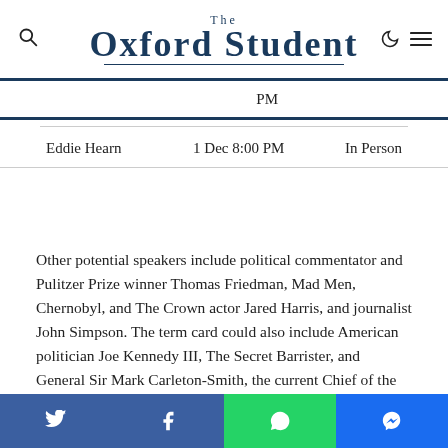The Oxford Student
PM
|  | Date | Format |
| --- | --- | --- |
| Eddie Hearn | 1 Dec 8:00 PM | In Person |
Other potential speakers include political commentator and Pulitzer Prize winner Thomas Friedman, Mad Men, Chernobyl, and The Crown actor Jared Harris, and journalist John Simpson. The term card could also include American politician Joe Kennedy III, The Secret Barrister, and General Sir Mark Carleton-Smith, the current Chief of the General Staff and professional head of the armed forces.
Twitter | Facebook | WhatsApp | Messenger